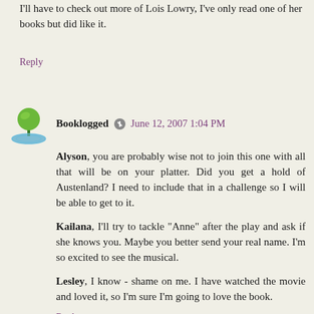I'll have to check out more of Lois Lowry, I've only read one of her books but did like it.
Reply
Booklogged  June 12, 2007 1:04 PM
Alyson, you are probably wise not to join this one with all that will be on your platter. Did you get a hold of Austenland? I need to include that in a challenge so I will be able to get to it.

Kailana, I'll try to tackle "Anne" after the play and ask if she knows you. Maybe you better send your real name. I'm so excited to see the musical.

Lesley, I know - shame on me. I have watched the movie and loved it, so I'm sure I'm going to love the book.
Reply